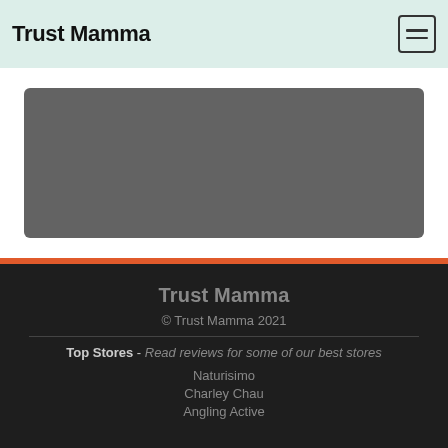Trust Mamma
[Figure (other): Dark grey rounded rectangle placeholder content area]
Trust Mamma
© Trust Mamma 2021
Top Stores - Read reviews for some of our best stores
Naturisimo
Charley Chau
Angling Active